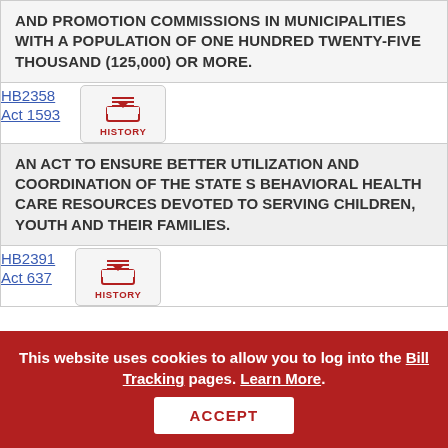AND PROMOTION COMMISSIONS IN MUNICIPALITIES WITH A POPULATION OF ONE HUNDRED TWENTY-FIVE THOUSAND (125,000) OR MORE.
HB2358
Act 1593
[Figure (other): HISTORY button with inbox tray icon]
AN ACT TO ENSURE BETTER UTILIZATION AND COORDINATION OF THE STATE S BEHAVIORAL HEALTH CARE RESOURCES DEVOTED TO SERVING CHILDREN, YOUTH AND THEIR FAMILIES.
HB2391
Act 637
[Figure (other): HISTORY button with inbox tray icon]
This website uses cookies to allow you to log into the Bill Tracking pages. Learn More. ACCEPT